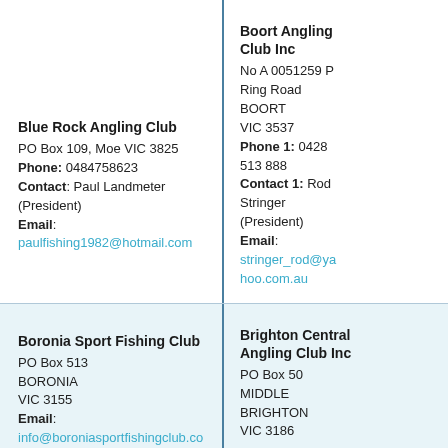Blue Rock Angling Club
PO Box 109, Moe VIC 3825
Phone: 0484758623
Contact: Paul Landmeter (President)
Email: paulfishing1982@hotmail.com
Boort Angling Club Inc
No A 0051259 P
Ring Road
BOORT
VIC 3537
Phone 1: 0428 513 888
Contact 1: Rod Stringer (President)
Email: stringer_rod@yahoo.com.au
Boronia Sport Fishing Club
PO Box 513
BORONIA
VIC 3155
Email: info@boroniasportfishingclub.co
Brighton Central Angling Club Inc
PO Box 50
MIDDLE BRIGHTON
VIC 3186